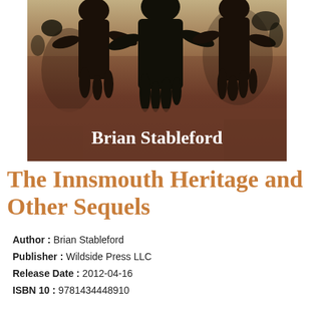[Figure (illustration): Book cover image showing dark silhouetted figures against a brown textured background, with the author name 'Brian Stableford' in white bold serif text overlaid on the lower portion of the cover image.]
The Innsmouth Heritage and Other Sequels
Author : Brian Stableford
Publisher : Wildside Press LLC
Release Date : 2012-04-16
ISBN 10 : 9781434448910